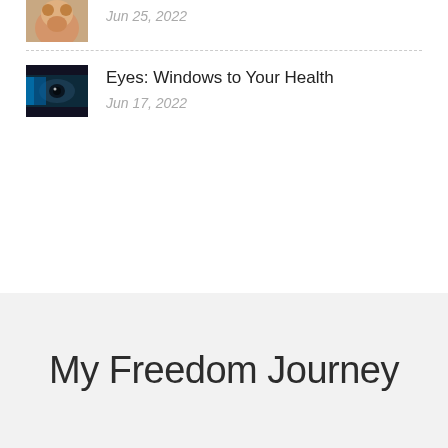[Figure (photo): Partial thumbnail of a dog or animal face, cropped at top of page]
Jun 25, 2022
[Figure (photo): Close-up dark thumbnail image of an eye]
Eyes: Windows to Your Health
Jun 17, 2022
My Freedom Journey